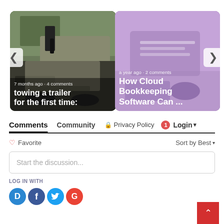[Figure (screenshot): Carousel card showing a trailer being towed, with text '7 months ago • 4 comments' and title 'towing a trailer for the first time:']
[Figure (screenshot): Carousel card with purple background showing bookkeeping items, with text 'a year ago • 2 comments' and title 'How Cloud Bookkeeping Software Can ...']
Comments   Community   🔒 Privacy Policy   1  Login ▾
♡ Favorite   Sort by Best ▾
Start the discussion...
LOG IN WITH
[Figure (screenshot): Social login icons: Disqus (D), Facebook (f), Twitter bird, Google (G)]